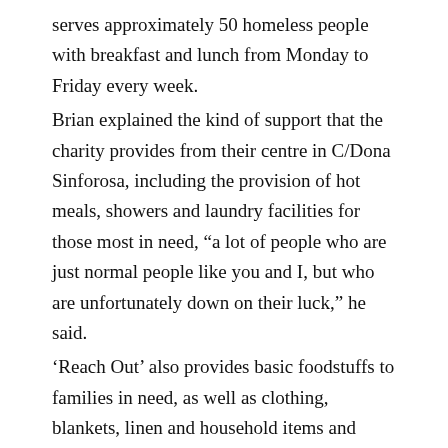serves approximately 50 homeless people with breakfast and lunch from Monday to Friday every week.
Brian explained the kind of support that the charity provides from their centre in C/Dona Sinforosa, including the provision of hot meals, showers and laundry facilities for those most in need, "a lot of people who are just normal people like you and I, but who are unfortunately down on their luck," he said.
'Reach Out' also provides basic foodstuffs to families in need, as well as clothing, blankets, linen and household items and furniture. With Christmas less than 4 weeks away they are currently providing support to 39 families and their 66 children.
Brian McArdle said how pleased he was that the donation was being put to such a worthy cause as he